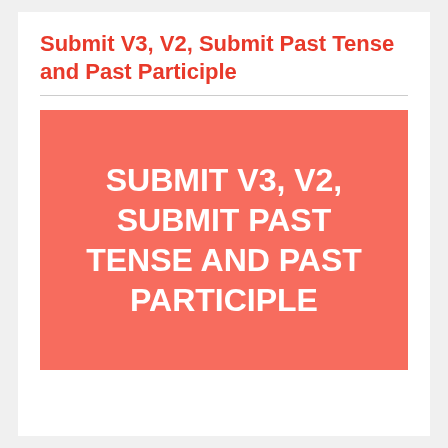Submit V3, V2, Submit Past Tense and Past Participle
[Figure (illustration): Red/salmon colored rectangle with white bold uppercase text reading: SUBMIT V3, V2, SUBMIT PAST TENSE AND PAST PARTICIPLE]